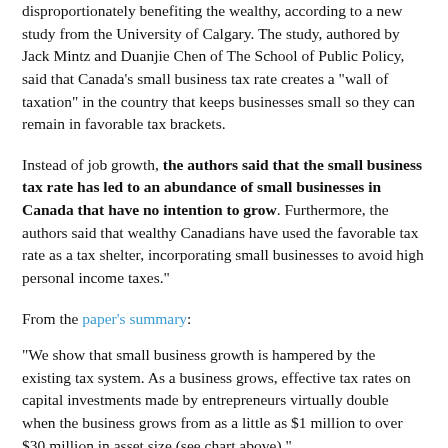disproportionately benefiting the wealthy, according to a new study from the University of Calgary. The study, authored by Jack Mintz and Duanjie Chen of The School of Public Policy, said that Canada's small business tax rate creates a "wall of taxation" in the country that keeps businesses small so they can remain in favorable tax brackets.
Instead of job growth, the authors said that the small business tax rate has led to an abundance of small businesses in Canada that have no intention to grow. Furthermore, the authors said that wealthy Canadians have used the favorable tax rate as a tax shelter, incorporating small businesses to avoid high personal income taxes."
From the paper's summary:
"We show that small business growth is hampered by the existing tax system. As a business grows, effective tax rates on capital investments made by entrepreneurs virtually double when the business grows from as a little as $1 million to over $30 million in asset size (see chart above)."